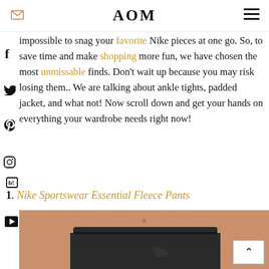AOM
impossible to snag your favorite Nike pieces at one go. So, to save time and make shopping more fun, we have chosen the most unmissable finds. Don't wait up because you may risk losing them.. We are talking about ankle tights, padded jacket, and what not! Now scroll down and get your hands on everything your wardrobe needs right now!
1. Nike Sportswear Essential Fleece Pants
[Figure (photo): Photo of a woman wearing Nike Sportswear Essential Fleece Pants in dark/black color, showing waist and legs area.]